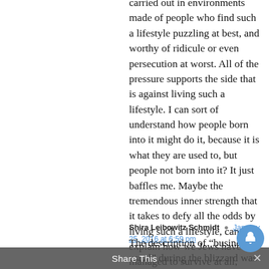carried out in environments made of people who find such a lifestyle puzzling at best, and worthy of ridicule or even persecution at worst.  All of the pressure supports the side that is against living such a lifestyle.  I can sort of understand how people born into it might do it, because it is what they are used to, but people not born into it?  It just baffles me.  Maybe the tremendous inner strength that it takes to defy all the odds by living such a lifestyle, can help explain how we Jews have managed to survive at all, despite the tremendous odds against it.
Shira Leibowitz Schmidt  January 25, 2016 at 6:59 pm
The description of “business as usual” during the blizzard was beautiful, as  the second commenter (Bracha Goetz) already said. But then I heard an echo of what a haredi rabbi in
Share This